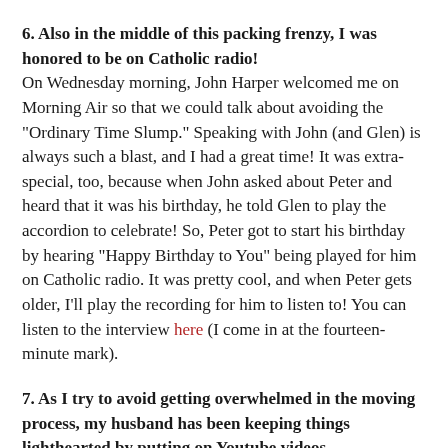6. Also in the middle of this packing frenzy, I was honored to be on Catholic radio! On Wednesday morning, John Harper welcomed me on Morning Air so that we could talk about avoiding the "Ordinary Time Slump." Speaking with John (and Glen) is always such a blast, and I had a great time! It was extra-special, too, because when John asked about Peter and heard that it was his birthday, he told Glen to play the accordion to celebrate! So, Peter got to start his birthday by hearing "Happy Birthday to You" being played for him on Catholic radio. It was pretty cool, and when Peter gets older, I'll play the recording for him to listen to! You can listen to the interview here (I come in at the fourteen-minute mark).
7. As I try to avoid getting overwhelmed in the moving process, my husband has been keeping things lighthearted by putting on Youtube videos. And there's this one channel that he recently discovered which I really enjoy-and I don't know why I like it. The channel is UnlistedLeaf, and the vast majority of the videos involve Ando, the man who runs the channel, opening packages of Pokemon trading cards. I've never played the Pokemon Trading Card Game,